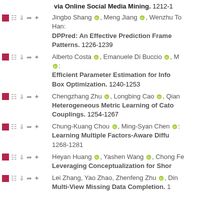via Online Social Media Mining. 1212-1
Jingbo Shang, Meng Jiang, Wenzhu To... Han: DPPred: An Effective Prediction Frame... Patterns. 1226-1239
Alberto Costa, Emanuele Di Buccio, M... Efficient Parameter Estimation for Info... Box Optimization. 1240-1253
Chengzhang Zhu, Longbing Cao, Qian... Heterogeneous Metric Learning of Cato... Couplings. 1254-1267
Chung-Kuang Chou, Ming-Syan Chen: Learning Multiple Factors-Aware Diffu... 1268-1281
Heyan Huang, Yashen Wang, Chong Fe... Leveraging Conceptualization for Shor...
Lei Zhang, Yao Zhao, Zhenfeng Zhu, Din... Multi-View Missing Data Completion. 1...